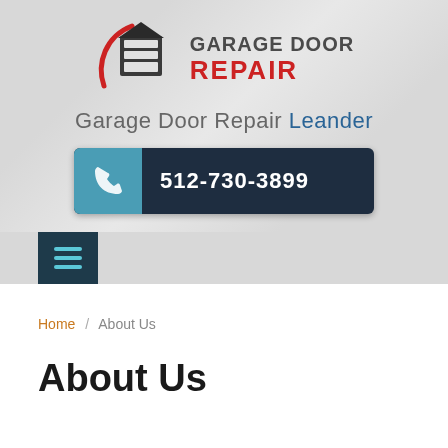[Figure (logo): Garage Door Repair logo with a house/garage icon wrapped in a red arc and dark door graphic, with text GARAGE DOOR REPAIR where REPAIR is in red bold uppercase]
Garage Door Repair Leander
512-730-3899
[Figure (other): Hamburger menu button (three horizontal lines icon) on a dark teal background square]
Home / About Us
About Us